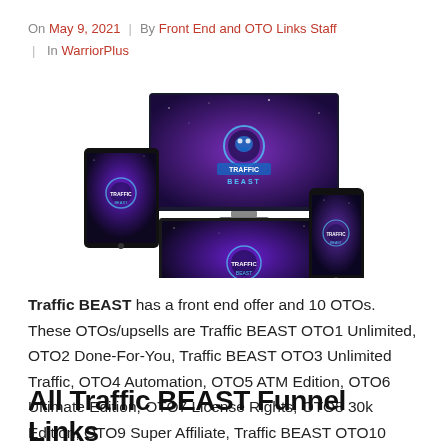On May 9, 2021 | By Front End and OTO Links Staff | In WarriorPlus
[Figure (photo): Product mockup showing Traffic BEAST software displayed on a desktop monitor, tablet, and smartphone with purple galaxy-themed backgrounds and the Traffic BEAST logo.]
Traffic BEAST has a front end offer and 10 OTOs. These OTOs/upsells are Traffic BEAST OTO1 Unlimited, OTO2 Done-For-You, Traffic BEAST OTO3 Unlimited Traffic, OTO4 Automation, OTO5 ATM Edition, OTO6 Ultimate Edition, OTO7 License Rights, OTO8 30k Edition, OTO9 Super Affiliate, Traffic BEAST OTO10 Millionaire Edition.
All Traffic BEAST Funnel Links